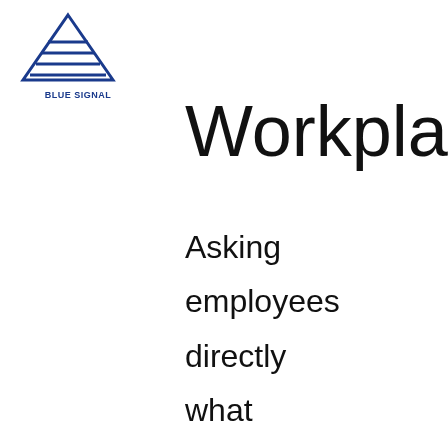[Figure (logo): Blue Signal logo: blue triangle with horizontal lines and text 'BLUE SIGNAL' below]
Workplace
Asking employees directly what they want is a way to ensure their needs are met